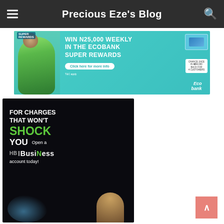Precious Eze's Blog
[Figure (photo): Ecobank Super Rewards advertisement: WIN N25,000 WEEKLY IN THE ECOBANK SUPER REWARDS. Click here for more info. Shows a man celebrating.]
[Figure (photo): HB Business bank advertisement: FOR CHARGES THAT WON'T SHOCK YOU. Open a HB|Business account today! Shows a man and electric figure graphic.]